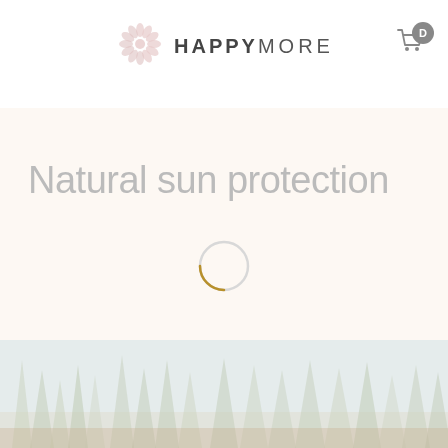HAPPYMORE logo and cart icon
Natural sun protection
[Figure (other): Loading spinner circle, partially golden arc on bottom-left, light grey ring overall]
[Figure (photo): Misty forest scene with tall trees fading into foggy white-blue background, warm sandy ground tones at bottom]